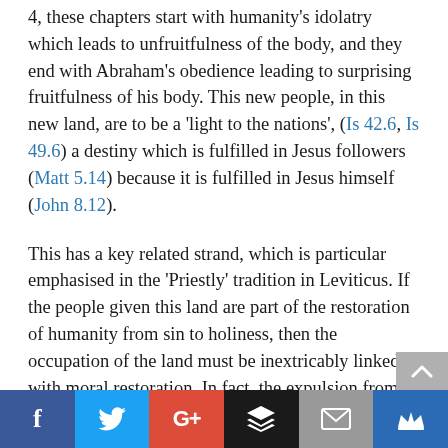4, these chapters start with humanity's idolatry which leads to unfruitfulness of the body, and they end with Abraham's obedience leading to surprising fruitfulness of his body. This new people, in this new land, are to be a 'light to the nations', (Is 42.6, Is 49.6) a destiny which is fulfilled in Jesus followers (Matt 5.14) because it is fulfilled in Jesus himself (John 8.12).
This has a key related strand, which is particular emphasised in the 'Priestly' tradition in Leviticus. If the people given this land are part of the restoration of humanity from sin to holiness, then the occupation of the land must be inextricably linked with moral restoration. In fact, the expulsion from the land of the resident Canaanites is given a specific moral
[Figure (infographic): Social sharing bar with Facebook, Twitter, Google+, Buffer, Email, and Crown icons]